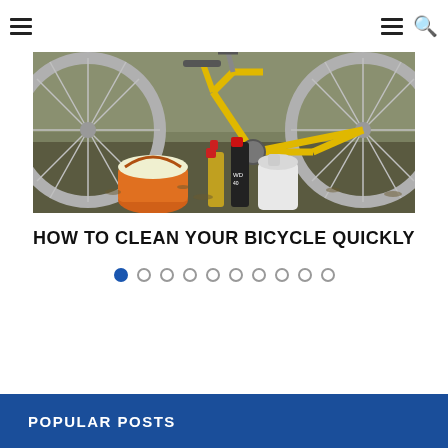Navigation menu icons and search icon
[Figure (photo): Photo of a yellow bicycle leaning against a wall, with an orange bucket with soapy water, cleaning spray bottles, and a white container on the ground in front of it.]
HOW TO CLEAN YOUR BICYCLE QUICKLY
[Figure (infographic): Carousel dot navigation: 10 dots, first dot filled blue (active), remaining 9 are empty circles]
POPULAR POSTS